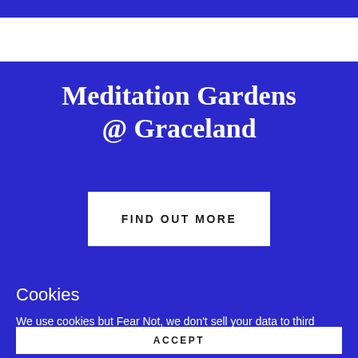Meditation Gardens @ Graceland
FIND OUT MORE
Cookies
We use cookies but Fear Not, we don't sell your data to third parties.
ACCEPT